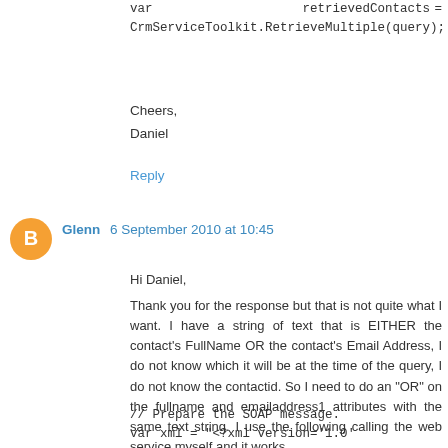var retrievedContacts =
CrmServiceToolkit.RetrieveMultiple(query);
Cheers,
Daniel
Reply
Glenn 6 September 2010 at 10:45
Hi Daniel,
Thank you for the response but that is not quite what I want. I have a string of text that is EITHER the contact's FullName OR the contact's Email Address, I do not know which it will be at the time of the query, I do not know the contactid. So I need to do an "OR" on the fullname and emailaddress1 attributes with the same text string. I use the following calling the web service myself and it works.
// Prepare the SOAP message.
var xml = "<?xml version='1.0' encoding='utf-8'?>" +